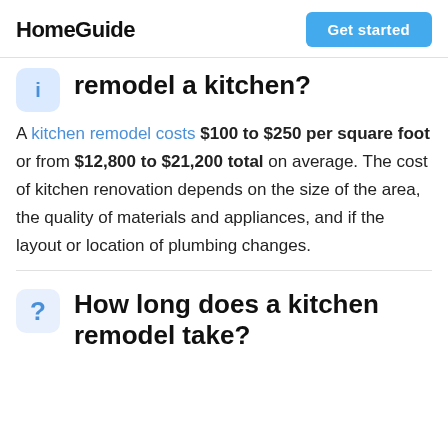HomeGuide | Get started
remodel a kitchen?
A kitchen remodel costs $100 to $250 per square foot or from $12,800 to $21,200 total on average. The cost of kitchen renovation depends on the size of the area, the quality of materials and appliances, and if the layout or location of plumbing changes.
How long does a kitchen remodel take?